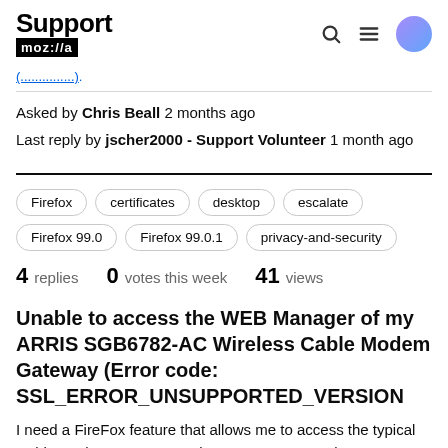Support mozilla
(link)
Asked by Chris Beall 2 months ago
Last reply by jscher2000 - Support Volunteer 1 month ago
Firefox
certificates
desktop
escalate
Firefox 99.0
Firefox 99.0.1
privacy-and-security
4 replies   0 votes this week   41 views
Unable to access the WEB Manager of my ARRIS SGB6782-AC Wireless Cable Modem Gateway (Error code: SSL_ERROR_UNSUPPORTED_VERSION
I need a FireFox feature that allows me to access the typical Cable Modem Gateway Web Manager page and...